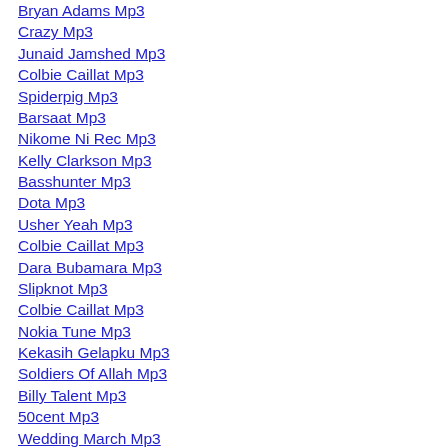Bryan Adams Mp3
Crazy Mp3
Junaid Jamshed Mp3
Colbie Caillat Mp3
Spiderpig Mp3
Barsaat Mp3
Nikome Ni Rec Mp3
Kelly Clarkson Mp3
Basshunter Mp3
Dota Mp3
Usher Yeah Mp3
Colbie Caillat Mp3
Dara Bubamara Mp3
Slipknot Mp3
Colbie Caillat Mp3
Nokia Tune Mp3
Kekasih Gelapku Mp3
Soldiers Of Allah Mp3
Billy Talent Mp3
50cent Mp3
Wedding March Mp3
Selamat Pengantin Baru Mp3
Real Love Mp3
Stronger Mp3
Quran Mp3